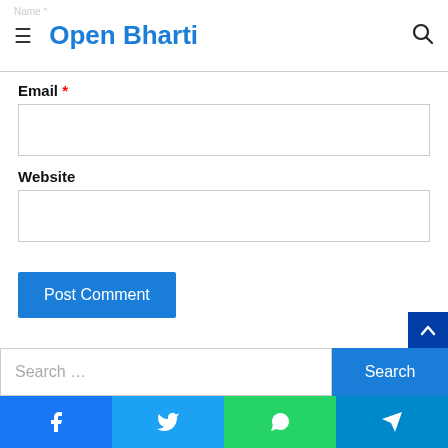Open Bharti
Name *
Email *
Website
Post Comment
Search …
Search
Facebook | Twitter | WhatsApp | Telegram